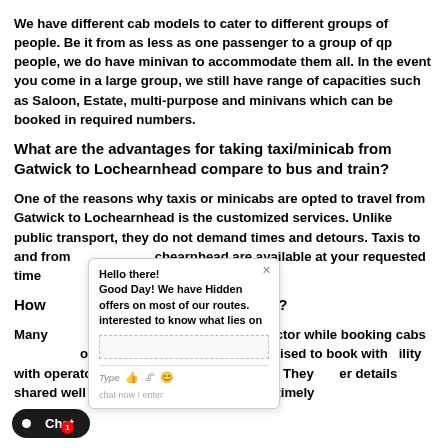We have different cab models to cater to different groups of people. Be it from as less as one passenger to a group of qp people, we do have minivan to accommodate them all. In the event you come in a large group, we still have range of capacities such as Saloon, Estate, multi-purpose and minivans which can be booked in required numbers.
What are the advantages for taking taxi/minicab from Gatwick to Lochearnhead compare to bus and train?
One of the reasons why taxis or minicabs are opted to travel from Gatwick to Lochearnhead is the customized services. Unlike public transport, they do not demand times and detours. Taxis to and from Lochearnhead are available at your requested time and convenience.
How long my driver will wait for me?
Many consider reliability as a main factor while booking cabs to Lochearnhead. It is hence advised to book with reliability with operators like Great Britain transport. They have driver details shared well in advance and follow up in a timely